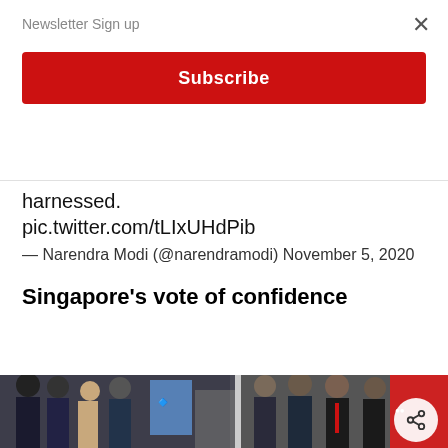Newsletter Sign up
Subscribe
harnessed. pic.twitter.com/tLIxUHdPib — Narendra Modi (@narendramodi) November 5, 2020
Singapore's vote of confidence
[Figure (photo): Group of people including officials in suits and a woman in a saree at an exhibition or conference event, with red and white signage in the background.]